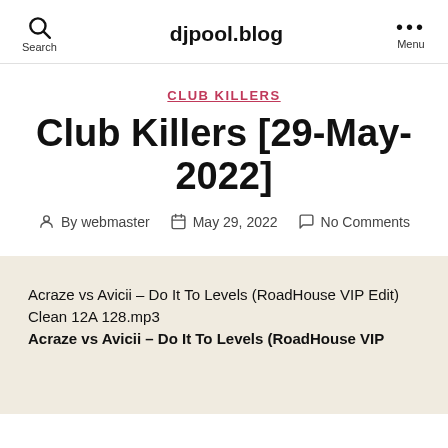djpool.blog | Search | Menu
CLUB KILLERS
Club Killers [29-May-2022]
By webmaster   May 29, 2022   No Comments
Acraze vs Avicii – Do It To Levels (RoadHouse VIP Edit) Clean 12A 128.mp3
Acraze vs Avicii – Do It To Levels (RoadHouse VIP